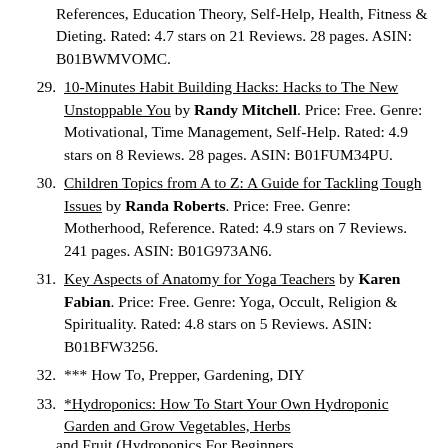(continuation) References, Education Theory, Self-Help, Health, Fitness & Dieting. Rated: 4.7 stars on 21 Reviews. 28 pages. ASIN: B01BWMVOMC.
29. 10-Minutes Habit Building Hacks: Hacks to The New Unstoppable You by Randy Mitchell. Price: Free. Genre: Motivational, Time Management, Self-Help. Rated: 4.9 stars on 8 Reviews. 28 pages. ASIN: B01FUM34PU.
30. Children Topics from A to Z: A Guide for Tackling Tough Issues by Randa Roberts. Price: Free. Genre: Motherhood, Reference. Rated: 4.9 stars on 7 Reviews. 241 pages. ASIN: B01G973AN6.
31. Key Aspects of Anatomy for Yoga Teachers by Karen Fabian. Price: Free. Genre: Yoga, Occult, Religion & Spirituality. Rated: 4.8 stars on 5 Reviews. ASIN: B01BFW3256.
32. *** How To, Prepper, Gardening, DIY
33. *Hydroponics: How To Start Your Own Hydroponic Garden and Grow Vegetables, Herbs and Fruit (Hydroponics For Beginners...